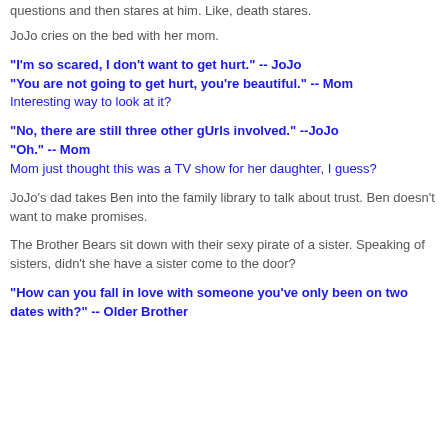questions and then stares at him. Like, death stares.
JoJo cries on the bed with her mom.
"I'm so scared, I don't want to get hurt." -- JoJo
"You are not going to get hurt, you're beautiful." -- Mom
Interesting way to look at it?
"No, there are still three other gUrls involved." --JoJo
"Oh." -- Mom
Mom just thought this was a TV show for her daughter, I guess?
JoJo's dad takes Ben into the family library to talk about trust. Ben doesn't want to make promises.
The Brother Bears sit down with their sexy pirate of a sister. Speaking of sisters, didn't she have a sister come to the door?
"How can you fall in love with someone you've only been on two dates with?" -- Older Brother